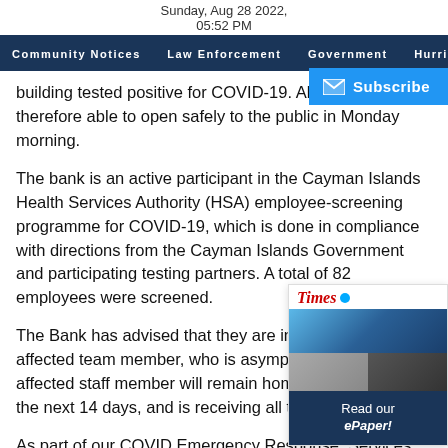Sunday, Aug 28 2022, 05:52 PM
Community Notices  Law Enforcement  Government  Hurricane Watch  CO...
building tested positive for COVID-19. All offices were therefore able to open safely to the public in Monday morning.
The bank is an active participant in the Cayman Islands Health Services Authority (HSA) employee-screening programme for COVID-19, which is done in compliance with directions from the Cayman Islands Government and participating testing partners. A total of 82 employees were screened.
The Bank has advised that they are in contact with their affected team member, who is asymptomatic. The affected staff member will remain home in isolation for the next 14 days, and is receiving all the necessary
As part of our COVID Emergency Response, Services Authority was notified and the and made all necessary arrangements to deep clean and sanitize the premises over the weekend.
[Figure (screenshot): Cayman Times ePaper widget with blue dot logo, aerial coastal photo, portrait photos, and Read our ePaper button]